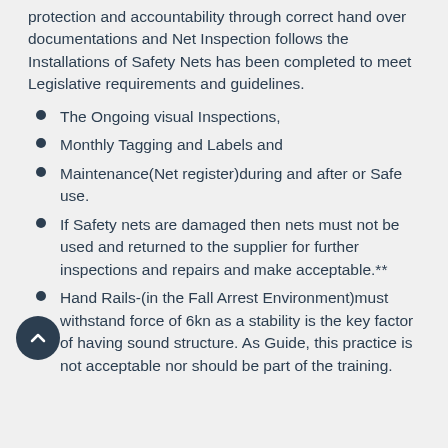protection and accountability through correct hand over documentations and Net Inspection follows the Installations of Safety Nets has been completed to meet Legislative requirements and guidelines.
The Ongoing visual Inspections,
Monthly Tagging and Labels and
Maintenance(Net register)during and after or Safe use.
If Safety nets are damaged then nets must not be used and returned to the supplier for further inspections and repairs and make acceptable.**
Hand Rails-(in the Fall Arrest Environment)must withstand force of 6kn as a stability is the key factor of having sound structure. As Guide, this practice is not acceptable nor should be part of the training.